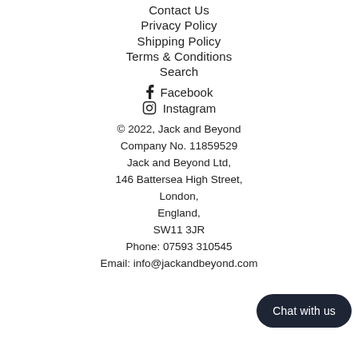Contact Us
Privacy Policy
Shipping Policy
Terms & Conditions
Search
Facebook
Instagram
© 2022, Jack and Beyond
Company No. 11859529
Jack and Beyond Ltd,
146 Battersea High Street,
London,
England,
SW11 3JR
Phone: 07593 310545
Email: info@jackandbeyond.com
Chat with us